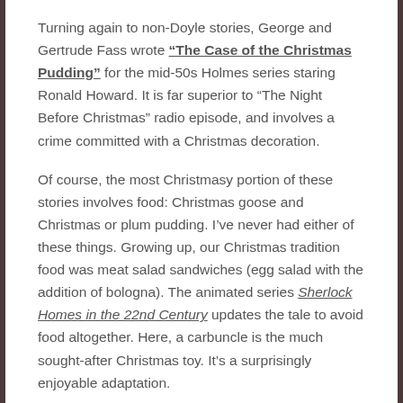Turning again to non-Doyle stories, George and Gertrude Fass wrote “The Case of the Christmas Pudding” for the mid-50s Holmes series staring Ronald Howard. It is far superior to “The Night Before Christmas” radio episode, and involves a crime committed with a Christmas decoration.
Of course, the most Christmasy portion of these stories involves food: Christmas goose and Christmas or plum pudding. I’ve never had either of these things. Growing up, our Christmas tradition food was meat salad sandwiches (egg salad with the addition of bologna). The animated series Sherlock Homes in the 22nd Century updates the tale to avoid food altogether. Here, a carbuncle is the much sought-after Christmas toy. It’s a surprisingly enjoyable adaptation.